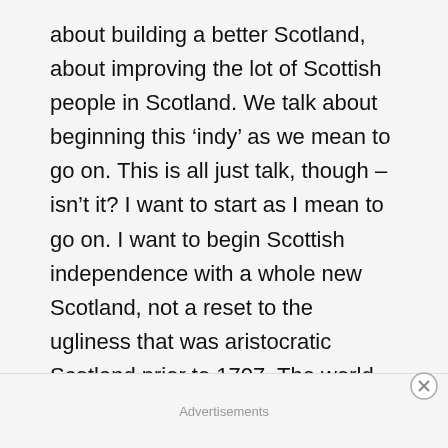about building a better Scotland, about improving the lot of Scottish people in Scotland. We talk about beginning this ‘indy’ as we mean to go on. This is all just talk, though – isn’t it? I want to start as I mean to go on. I want to begin Scottish independence with a whole new Scotland, not a reset to the ugliness that was aristocratic Scotland prior to 1707. The world has changed. We have changed. Say what you want about prioritising independence before a Republic, I want both – and I want both because I
Advertisements